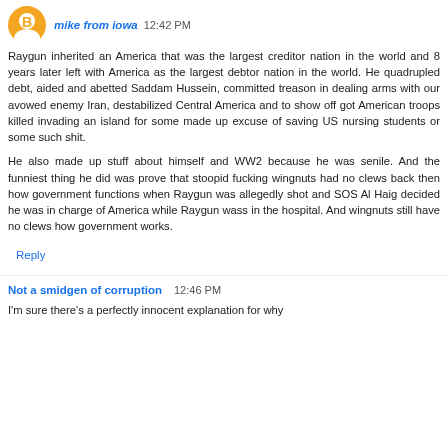mike from iowa  12:42 PM
Raygun inherited an America that was the largest creditor nation in the world and 8 years later left with America as the largest debtor nation in the world. He quadrupled debt, aided and abetted Saddam Hussein, committed treason in dealing arms with our avowed enemy Iran, destabilized Central America and to show off got American troops killed invading an island for some made up excuse of saving US nursing students or some such shit.

He also made up stuff about himself and WW2 because he was senile. And the funniest thing he did was prove that stoopid fucking wingnuts had no clews back then how government functions when Raygun was allegedly shot and SOS Al Haig decided he was in charge of America while Raygun wass in the hospital. And wingnuts still have no clews how government works.
Reply
Not a smidgen of corruption  12:46 PM
I'm sure there's a perfectly innocent explanation for why...